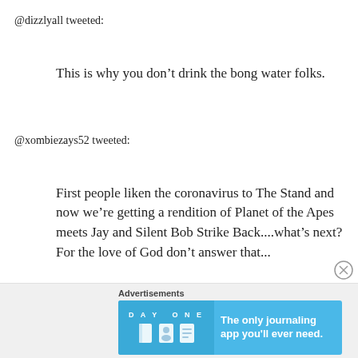@dizzlyall tweeted:
This is why you don’t drink the bong water folks.
@xombiezays52 tweeted:
First people liken the coronavirus to The Stand and now we’re getting a rendition of Planet of the Apes meets Jay and Silent Bob Strike Back....what’s next? For the love of God don’t answer that...
[Figure (screenshot): Advertisement banner for Day One journaling app with blue background, app icons, and text: 'The only journaling app you'll ever need.']